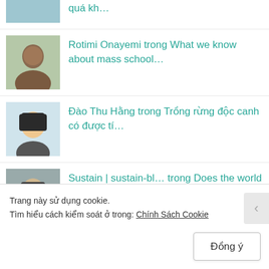quá kh…
Rotimi Onayemi trong What we know about mass school…
Đào Thu Hằng trong Trồng rừng độc canh có được tí…
Sustain | sustain-bl… trong Does the world need hydrogen t…
Trần Đình Hoành trong US Supreme Court draft opinion…
Sustain | sustain-bl… trong Just 34.8 percent of people in…
Trang này sử dụng cookie.
Tìm hiểu cách kiểm soát ở trong: Chính Sách Cookie
Đồng ý